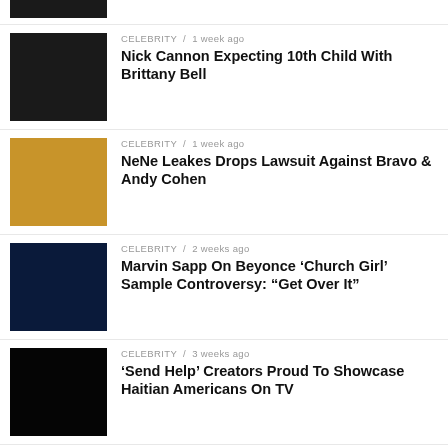[Figure (photo): Partial photo at top of feed, cropped]
[Figure (photo): Nick Cannon performing in red jacket and red beanie]
CELEBRITY / 1 week ago
Nick Cannon Expecting 10th Child With Brittany Bell
[Figure (photo): NeNe Leakes with long blonde hair in leopard print outfit]
CELEBRITY / 1 week ago
NeNe Leakes Drops Lawsuit Against Bravo & Andy Cohen
[Figure (photo): Marvin Sapp on stage with blue stage lighting]
CELEBRITY / 2 weeks ago
Marvin Sapp On Beyonce ‘Church Girl’ Sample Controversy: “Get Over It”
[Figure (photo): Dark/black image for Send Help article]
CELEBRITY / 3 weeks ago
‘Send Help’ Creators Proud To Showcase Haitian Americans On TV
[Figure (photo): Dark/black image for Kathy Hilton article]
CELEBRITY / 3 weeks ago
Yikes! Kathy Hilton Confuses Lizzo For “Precious” Star, Gabourey Sidibe